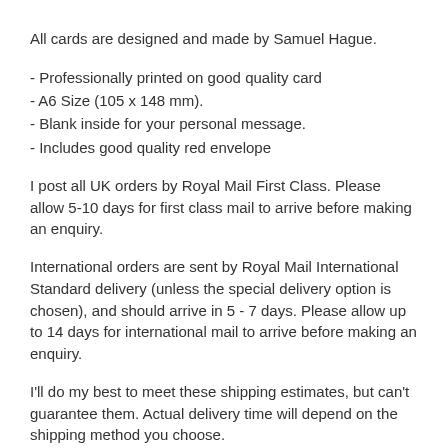All cards are designed and made by Samuel Hague.
- Professionally printed on good quality card
- A6 Size (105 x 148 mm).
- Blank inside for your personal message.
- Includes good quality red envelope
I post all UK orders by Royal Mail First Class. Please allow 5-10 days for first class mail to arrive before making an enquiry.
International orders are sent by Royal Mail International Standard delivery (unless the special delivery option is chosen), and should arrive in 5 - 7 days. Please allow up to 14 days for international mail to arrive before making an enquiry.
I'll do my best to meet these shipping estimates, but can't guarantee them. Actual delivery time will depend on the shipping method you choose.